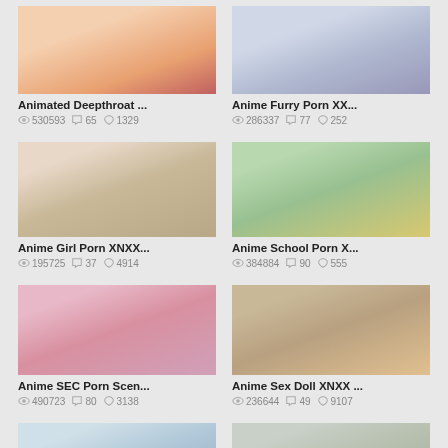[Figure (screenshot): Animated Deepthroat thumbnail]
Animated Deepthroat ...
530593  65  1329
[Figure (screenshot): Anime Furry Porn XX... thumbnail]
Anime Furry Porn XX...
286337  77  252
[Figure (screenshot): Anime Girl Porn XNXX... thumbnail]
Anime Girl Porn XNXX...
195725  37  4914
[Figure (screenshot): Anime School Porn X... thumbnail]
Anime School Porn X...
384884  90  555
[Figure (screenshot): Anime SEC Porn Scen... thumbnail]
Anime SEC Porn Scen...
490723  80  3138
[Figure (screenshot): Anime Sex Doll XNXX ... thumbnail]
Anime Sex Doll XNXX ...
236644  49  9107
[Figure (screenshot): Row 4 left thumbnail]
[Figure (screenshot): Row 4 right thumbnail with Translate button]